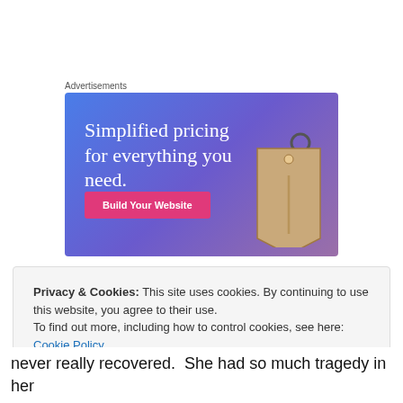Advertisements
[Figure (illustration): Advertisement banner with gradient blue-purple background showing text 'Simplified pricing for everything you need.' with a pink 'Build Your Website' button and a tan price tag illustration on the right.]
Privacy & Cookies: This site uses cookies. By continuing to use this website, you agree to their use.
To find out more, including how to control cookies, see here: Cookie Policy
Close and accept
never really recovered.  She had so much tragedy in her